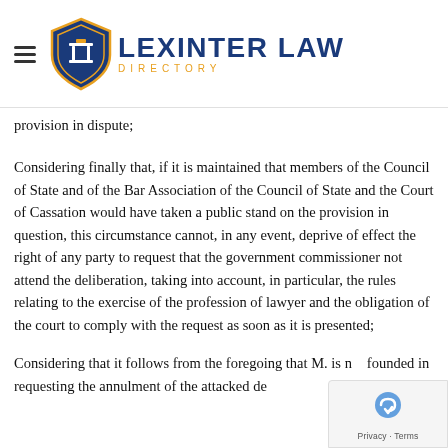Lexinter Law Directory
provision in dispute;
Considering finally that, if it is maintained that members of the Council of State and of the Bar Association of the Council of State and the Court of Cassation would have taken a public stand on the provision in question, this circumstance cannot, in any event, deprive of effect the right of any party to request that the government commissioner not attend the deliberation, taking into account, in particular, the rules relating to the exercise of the profession of lawyer and the obligation of the court to comply with the request as soon as it is presented;
Considering that it follows from the foregoing that M. is not founded in requesting the annulment of the attacked dec...